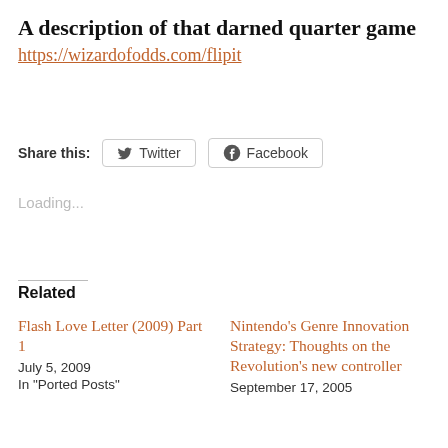A description of that darned quarter game
https://wizardofodds.com/flipit
Share this:  Twitter  Facebook
Loading...
Related
Flash Love Letter (2009) Part 1
July 5, 2009
In "Ported Posts"
Nintendo's Genre Innovation Strategy: Thoughts on the Revolution's new controller
September 17, 2005